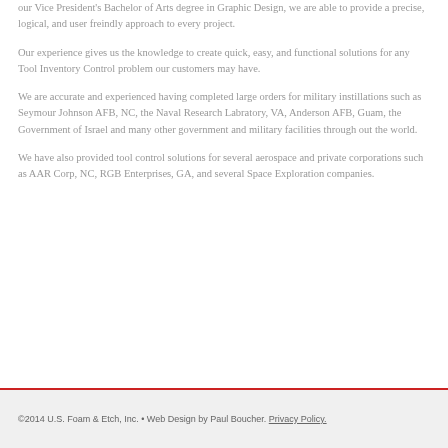our Vice President's Bachelor of Arts degree in Graphic Design, we are able to provide a precise, logical, and user freindly approach to every project.
Our experience gives us the knowledge to create quick, easy, and functional solutions for any Tool Inventory Control problem our customers may have.
We are accurate and experienced having completed large orders for military instillations such as Seymour Johnson AFB, NC, the Naval Research Laboratory, VA, Anderson AFB, Guam, the Government of Israel and many other government and military facilities through out the world.
We have also provided tool control solutions for several aerospace and private corporations such as AAR Corp, NC, RGB Enterprises, GA, and several Space Exploration companies.
©2014 U.S. Foam & Etch, Inc. • Web Design by Paul Boucher. Privacy Policy.